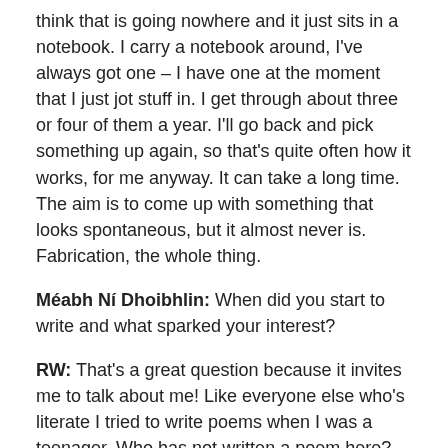think that is going nowhere and it just sits in a notebook. I carry a notebook around, I've always got one – I have one at the moment that I just jot stuff in. I get through about three or four of them a year. I'll go back and pick something up again, so that's quite often how it works, for me anyway. It can take a long time. The aim is to come up with something that looks spontaneous, but it almost never is. Fabrication, the whole thing.
Méabh Ní Dhoibhlin: When did you start to write and what sparked your interest?
RW: That's a great question because it invites me to talk about me! Like everyone else who's literate I tried to write poems when I was a teenager. Who has not written a poem here?
MND: I used to write songs. That was my outlet.
RW: Where does one become the other? I wrote some